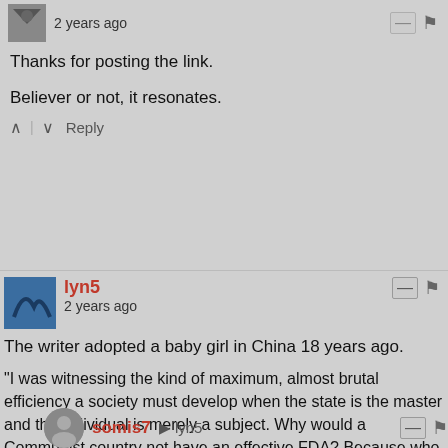2 years ago
Thanks for posting the link.
Believer or not, it resonates.
Reply
lyn5
2 years ago
The writer adopted a baby girl in China 18 years ago.
"I was witnessing the kind of maximum, almost brutal efficiency a society must develop when the state is the master and the individual is merely a subject. Why would a Communist country not have an effective FDA? Because who are you going to complain to if you get tainted food? The government? They don’t answer to you. The press? They are owned by the government. And again, they don’t answer to you."
https://regiehammblog.wordp...
2 Reply
somis7 ► lyn5